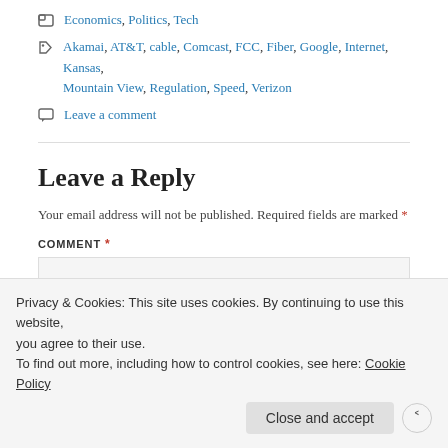Economics, Politics, Tech
Akamai, AT&T, cable, Comcast, FCC, Fiber, Google, Internet, Kansas, Mountain View, Regulation, Speed, Verizon
Leave a comment
Leave a Reply
Your email address will not be published. Required fields are marked *
COMMENT *
Privacy & Cookies: This site uses cookies. By continuing to use this website, you agree to their use.
To find out more, including how to control cookies, see here: Cookie Policy